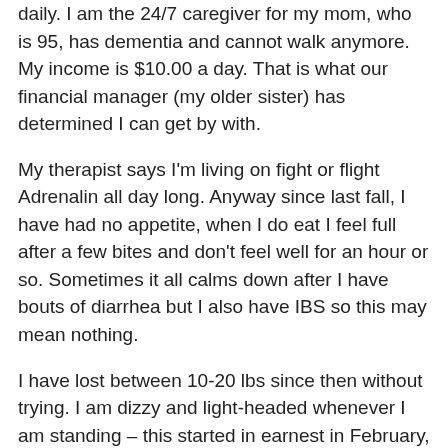daily. I am the 24/7 caregiver for my mom, who is 95, has dementia and cannot walk anymore. My income is $10.00 a day. That is what our financial manager (my older sister) has determined I can get by with.
My therapist says I'm living on fight or flight Adrenalin all day long. Anyway since last fall, I have had no appetite, when I do eat I feel full after a few bites and don't feel well for an hour or so. Sometimes it all calms down after I have bouts of diarrhea but I also have IBS so this may mean nothing.
I have lost between 10-20 lbs since then without trying. I am dizzy and light-headed whenever I am standing – this started in earnest in February,